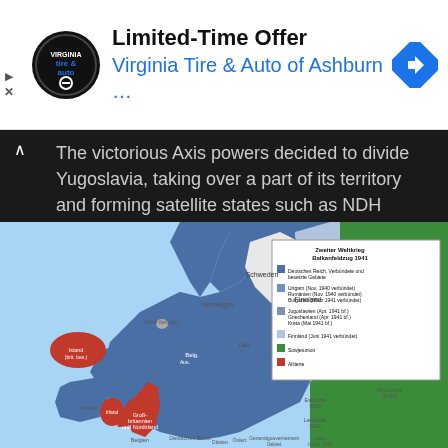[Figure (other): Advertisement banner for Virginia Tire & Auto of Ashburn with logo and navigation icon]
The victorious Axis powers decided to divide Yugoslavia, taking over a part of its territory and forming satellite states such as NDH (Independent State of Croatia) and Nedic's Serbia.
[Figure (map): Historical map of Europe showing the division during WWII Balkan campaign 1941, with different colors for Deutsches Reich and occupied territories (blue), Hungary/Romania/Bulgaria (lighter blue), Yugoslavia/Greece/Crete (medium blue), Finland (light), Soviet Union (green), and Allied powers (red). Legend in German: 'Zweiter Weltkrieg Balkanfeldzug 1941']